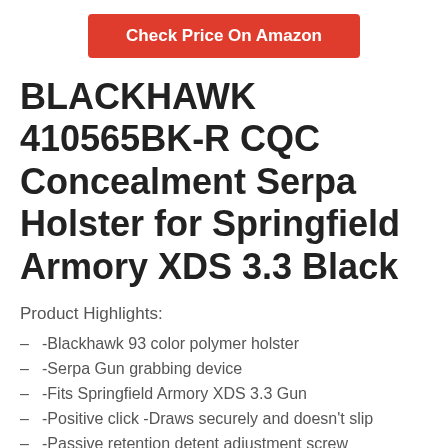[Figure (other): Red 'Check Price On Amazon' button]
BLACKHAWK 410565BK-R CQC Concealment Serpa Holster for Springfield Armory XDS 3.3 Black
Product Highlights:
- -Blackhawk 93 color polymer holster
- -Serpa Gun grabbing device
- -Fits Springfield Armory XDS 3.3 Gun
- -Positive click -Draws securely and doesn't slip
- -Passive retention detent adjustment screw
- -Push button release
- -Accommodates belts up to 1.75 inches wide